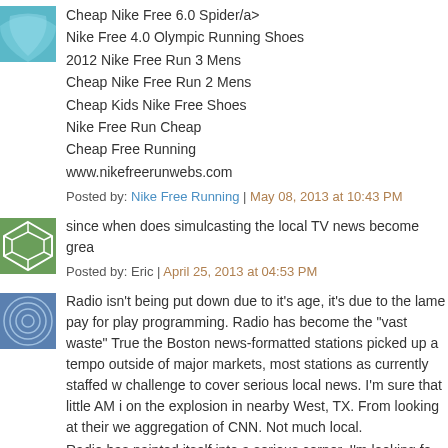Cheap Nike Free 6.0 Spider/a>
Nike Free 4.0 Olympic Running Shoes
2012 Nike Free Run 3 Mens
Cheap Nike Free Run 2 Mens
Cheap Kids Nike Free Shoes
Nike Free Run Cheap
Cheap Free Running
www.nikefreerunwebs.com
Posted by: Nike Free Running | May 08, 2013 at 10:43 PM
since when does simulcasting the local TV news become grea
Posted by: Eric | April 25, 2013 at 04:53 PM
Radio isn't being put down due to it's age, it's due to the lame pay for play programming. Radio has become the "vast waste" True the Boston news-formatted stations picked up a tempo outside of major markets, most stations as currently staffed w challenge to cover serious local news. I'm sure that little AM i on the explosion in nearby West, TX. From looking at their we aggregation of CNN. Not much local.
Radio has painted itself into a serious corner. I'm looking fo